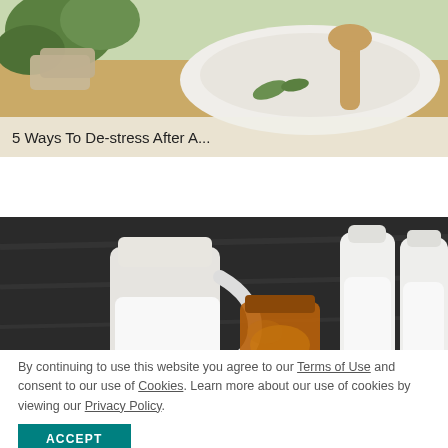[Figure (photo): Photo of spa/wellness items including salt, soap, and green herbs on a wooden surface]
5 Ways To De-stress After A...
[Figure (photo): Photo of milk jugs, glass bottle with honey, and white milk bottles on a dark wooden background]
3 All-Natural DIY Facial...
By continuing to use this website you agree to our Terms of Use and consent to our use of Cookies. Learn more about our use of cookies by viewing our Privacy Policy.
ACCEPT